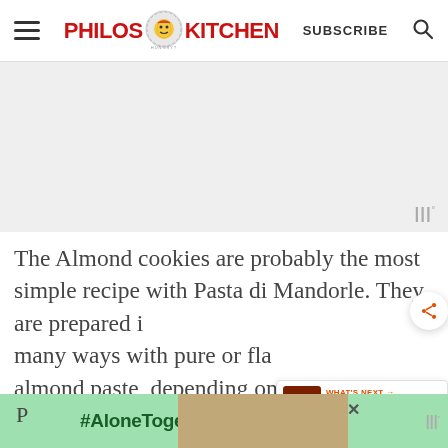Philos Kitchen — SUBSCRIBE
[Figure (other): Gray advertisement placeholder area]
The Almond cookies are probably the most simple recipe with Pasta di Mandorle. They are prepared in many ways with pure or flavored almond paste, depending on the
[Figure (other): Bottom advertisement banner with #AloneTogether text and a photo of two people]
WHAT'S NEXT → HOMEMADE SUN-DRIED...